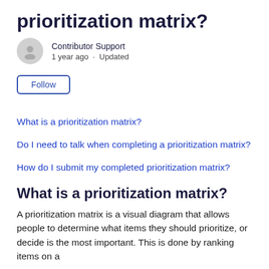prioritization matrix?
Contributor Support
1 year ago · Updated
Follow
What is a prioritization matrix?
Do I need to talk when completing a prioritization matrix?
How do I submit my completed prioritization matrix?
What is a prioritization matrix?
A prioritization matrix is a visual diagram that allows people to determine what items they should prioritize, or decide is the most important. This is done by ranking items on a